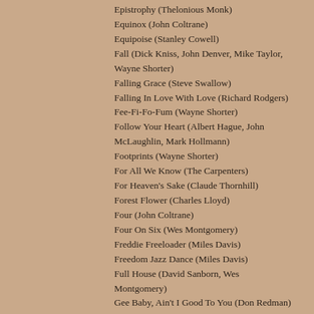Epistrophy (Thelonious Monk)
Equinox (John Coltrane)
Equipoise (Stanley Cowell)
Fall (Dick Kniss, John Denver, Mike Taylor, Wayne Shorter)
Falling Grace (Steve Swallow)
Falling In Love With Love (Richard Rodgers)
Fee-Fi-Fo-Fum (Wayne Shorter)
Follow Your Heart (Albert Hague, John McLaughlin, Mark Hollmann)
Footprints (Wayne Shorter)
For All We Know (The Carpenters)
For Heaven's Sake (Claude Thornhill)
Forest Flower (Charles Lloyd)
Four (John Coltrane)
Four On Six (Wes Montgomery)
Freddie Freeloader (Miles Davis)
Freedom Jazz Dance (Miles Davis)
Full House (David Sanborn, Wes Montgomery)
Gee Baby, Ain't I Good To You (Don Redman)
Gemini (Slayer)
Giant Steps (John Coltrane)
Gloria's Step (Scott LeFaro)
God Bless' The Child (Arthur Herzog Jr., Billie Holiday)
Golden Lady (Stevie Wonder)
Good Evening Mr. And Mrs. America (John Guerin)